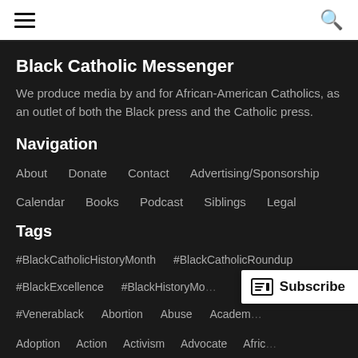≡  🔍
Black Catholic Messenger
We produce media by and for African-American Catholics, as an outlet of both the Black press and the Catholic press.
Navigation
About   Donate   Contact   Advertising/Sponsorship
Calendar   Books   Podcast   Siblings   Legal
Tags
#BlackCatholicHistoryMonth   #BlackCatholicRoundup
#BlackExcellence   #BlackHistoryMo...
#Venerablack   Abortion   Abuse   Academ...
Adoption   Action   Activism   Advocate   Afric...